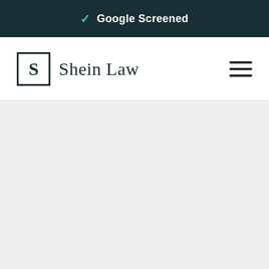✓ Google Screened
[Figure (logo): Shein Law logo with bracketed S and firm name, plus hamburger menu icon]